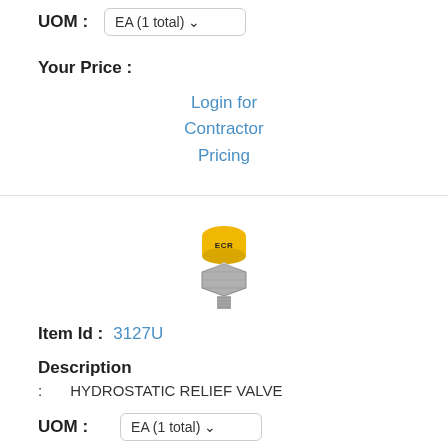UOM : EA (1 total)
Your Price :
Login for Contractor Pricing
[Figure (photo): Hydrostatic relief valve product photo — a small valve with a yellow cap labeled ECR on top of a silver hexagonal metal body with a threaded stem at the bottom.]
Item Id : 3127U
Description
: HYDROSTATIC RELIEF VALVE
UOM : EA (1 total)
Your Price :